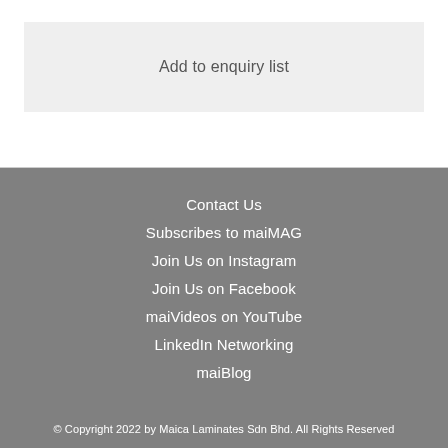Add to enquiry list
Contact Us
Subscribes to maiMAG
Join Us on Instagram
Join Us on Facebook
maiVideos on YouTube
LinkedIn Networking
maiBlog
© Copyright 2022 by Maica Laminates Sdn Bhd. All Rights Reserved